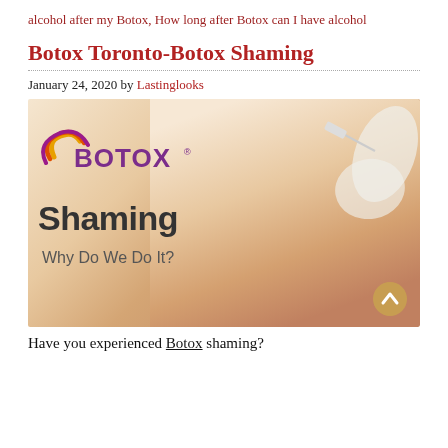alcohol after my Botox, How long after Botox can I have alcohol
Botox Toronto-Botox Shaming
January 24, 2020 by Lastinglooks
[Figure (photo): Promotional image for Botox Shaming article. Shows a woman's face receiving a Botox injection, with the Botox logo and text 'Shaming' and 'Why Do We Do It?' overlaid on the left side. A scroll-up button is visible at bottom right.]
Have you experienced Botox shaming?